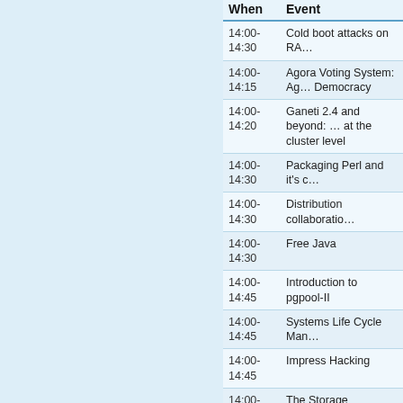| When | Event |
| --- | --- |
| 14:00-14:30 | Cold boot attacks on RA… |
| 14:00-14:15 | Agora Voting System: Ag… Democracy |
| 14:00-14:20 | Ganeti 2.4 and beyond: … at the cluster level |
| 14:00-14:30 | Packaging Perl and it's c… |
| 14:00-14:30 | Distribution collaboratio… |
| 14:00-14:30 | Free Java |
| 14:00-14:45 | Introduction to pgpool-II |
| 14:00-14:45 | Systems Life Cycle Man… |
| 14:00-14:45 | Impress Hacking |
| 14:00-14:50 | The Storage Technologie… |
| 14:00-14:50 | Liberating Open Office D… |
| 14:00-15:00 | Configuration data upgra… |
| 14:20-14:35 | Village-Telco: Village Tel… |
| 14:20- | A presentation of SPICE… |